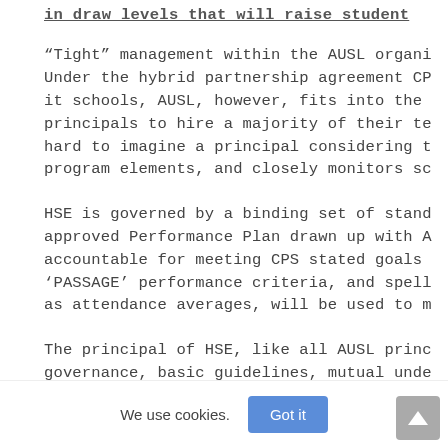in draw levels that will raise student
“Tight” management within the AUSL organi Under the hybrid partnership agreement CP it schools, AUSL, however, fits into the principals to hire a majority of their te hard to imagine a principal considering t program elements, and closely monitors sc
HSE is governed by a binding set of stand approved Performance Plan drawn up with A accountable for meeting CPS stated goals ‘PASSAGE’ performance criteria, and spell as attendance averages, will be used to m
The principal of HSE, like all AUSL princ governance, basic guidelines, mutual unde transformation of the school. AUSL guide